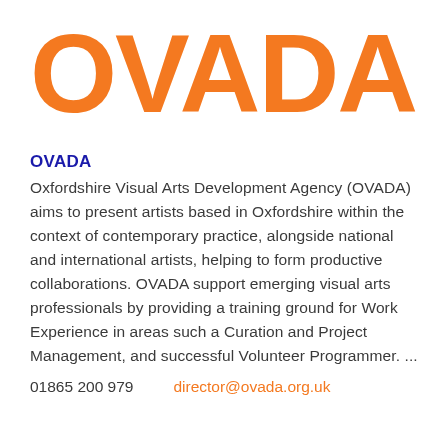OVADA
OVADA
Oxfordshire Visual Arts Development Agency (OVADA) aims to present artists based in Oxfordshire within the context of contemporary practice, alongside national and international artists, helping to form productive collaborations. OVADA support emerging visual arts professionals by providing a training ground for Work Experience in areas such a Curation and Project Management, and successful Volunteer Programmer. ...
01865 200 979    director@ovada.org.uk